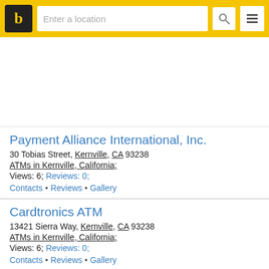b | Enter a location
[Figure (other): White advertisement area placeholder]
Payment Alliance International, Inc.
30 Tobias Street, Kernville, CA 93238
ATMs in Kernville, California;
Views: 6; Reviews: 0;
Contacts • Reviews • Gallery
Cardtronics ATM
13421 Sierra Way, Kernville, CA 93238
ATMs in Kernville, California;
Views: 6; Reviews: 0;
Contacts • Reviews • Gallery